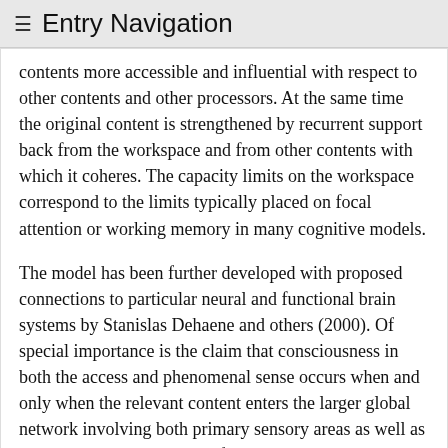≡ Entry Navigation
contents more accessible and influential with respect to other contents and other processors. At the same time the original content is strengthened by recurrent support back from the workspace and from other contents with which it coheres. The capacity limits on the workspace correspond to the limits typically placed on focal attention or working memory in many cognitive models.
The model has been further developed with proposed connections to particular neural and functional brain systems by Stanislas Dehaene and others (2000). Of special importance is the claim that consciousness in both the access and phenomenal sense occurs when and only when the relevant content enters the larger global network involving both primary sensory areas as well as many other areas including frontal and parietal areas associated with attention. Dehaene claims that conscious perception begins only with the “ignition” of that larger global network; activity in the primary sensory areas will not suffice no matter how intense or recurrent (though see the contrary view of Victor Lamme in section 9.7).